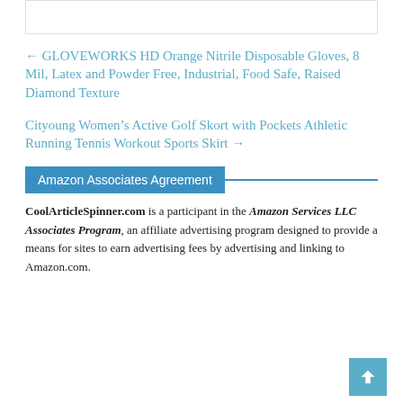← GLOVEWORKS HD Orange Nitrile Disposable Gloves, 8 Mil, Latex and Powder Free, Industrial, Food Safe, Raised Diamond Texture
Cityoung Women's Active Golf Skort with Pockets Athletic Running Tennis Workout Sports Skirt →
Amazon Associates Agreement
CoolArticleSpinner.com is a participant in the Amazon Services LLC Associates Program, an affiliate advertising program designed to provide a means for sites to earn advertising fees by advertising and linking to Amazon.com.